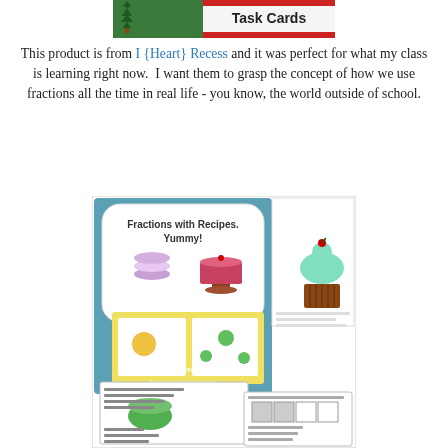[Figure (illustration): Top banner image showing Task Cards educational product with Christmas tree and red/green stripes]
This product is from I {Heart} Recess and it was perfect for what my class is learning right now.  I want them to grasp the concept of how we use fractions all the time in real life - you know, the world outside of school.
[Figure (illustration): Product preview image showing 'Fractions with Recipes. Yummy!' educational materials by I {Heart} Recess, featuring worksheets with recipe-based fraction problems, a cupcake illustration, and various student activity pages]